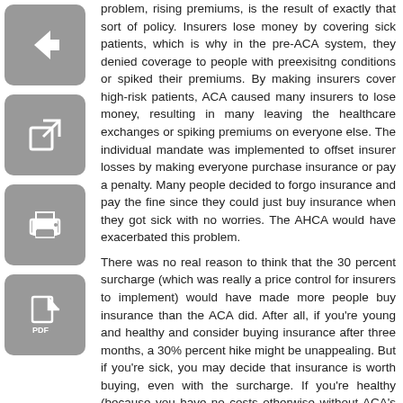[Figure (other): Four navigation/action icons stacked vertically on the left: back arrow, edit/external link, print, and PDF download]
problem, rising premiums, is the result of exactly that sort of policy. Insurers lose money by covering sick patients, which is why in the pre-ACA system, they denied coverage to people with preexisitng conditions or spiked their premiums. By making insurers cover high-risk patients, ACA caused many insurers to lose money, resulting in many leaving the healthcare exchanges or spiking premiums on everyone else. The individual mandate was implemented to offset insurer losses by making everyone purchase insurance or pay a penalty. Many people decided to forgo insurance and pay the fine since they could just buy insurance when they got sick with no worries. The AHCA would have exacerbated this problem.

There was no real reason to think that the 30 percent surcharge (which was really a price control for insurers to implement) would have made more people buy insurance than the ACA did. After all, if you're young and healthy and consider buying insurance after three months, a 30% percent hike might be unappealing. But if you're sick, you may decide that insurance is worth buying, even with the surcharge. If you're healthy (because you have no costs otherwise without ACA's penalty), you have no real incentive to buy insurance. So insurers would have continued losing money covering the sick while jacking up premiums on the healthy who want insurance. Meanwhile, the number who want insurance would probably diminish.